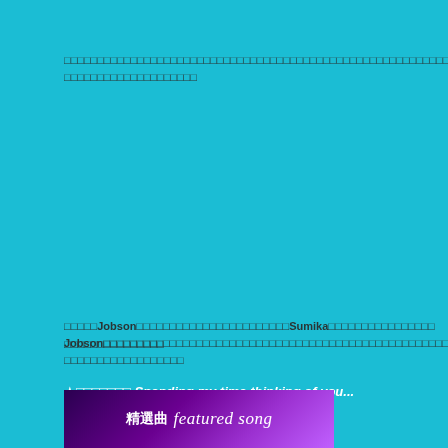□□□□□□□□□□□□□□□□□□□□□□□□□□□□□□□□□□□□□□□□□□□□□□□□□□□□□□□□□□□□□□□□□□□□□□□□□□□□□□□□□□□□□□□□□□□□□□□
□□□□□□□□□□□□□□□Jobson□□□□□□□□□□□□□□□□□□□□□Sumika□□□□□□□□□□□□□□□□Jobson□□□□□□□□□□□□□□□□□□□□□□□□□□□□□□□□□□□□□□□□□□□□□□□□□□□□□□□□□□□□□□□□□□□□□□□□□□□□□
□□□□□□□□□□□□□□□
★□□□□□□□ Spending my time thinking of you...
[Figure (other): Featured song banner with purple gradient background showing Japanese text '精選曲' and stylized English text 'featured song']